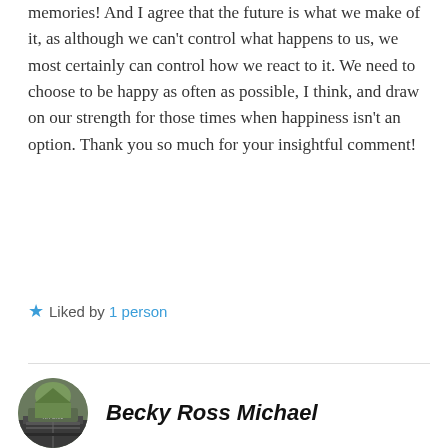memories! And I agree that the future is what we make of it, as although we can't control what happens to us, we most certainly can control how we react to it. We need to choose to be happy as often as possible, I think, and draw on our strength for those times when happiness isn't an option. Thank you so much for your insightful comment!
★ Liked by 1 person
Becky Ross Michael